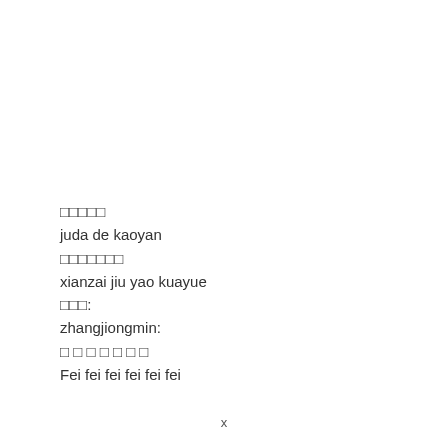□□□□□
juda de kaoyan
□□□□□□□
xianzai jiu yao kuayue
□□□:
zhangjiongmin:
□ □ □ □ □ □ □
Fei fei fei fei fei fei
x